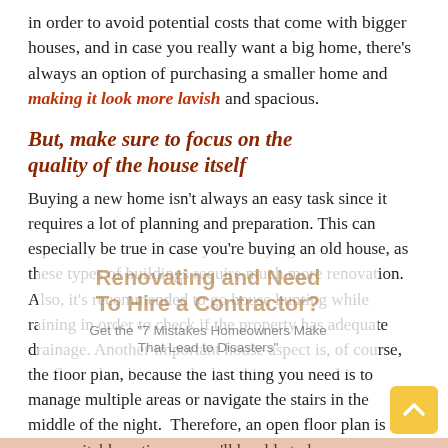in order to avoid potential costs that come with bigger houses, and in case you really want a big home, there's always an option of purchasing a smaller home and making it look more lavish and spacious.
But, make sure to focus on the quality of the house itself
Buying a new home isn't always an easy task since it requires a lot of planning and preparation. This can especially be true in case you're buying an old house, as these types of buildings require much more renovation. Also, it's recommended to go house hunting while raining in order to check if the property has adequate drainage. Another important house aspect is, of course, the floor plan, because the last thing you need is to manage multiple areas or navigate the stairs in the middle of the night.  Therefore, an open floor plan is a more suitable option, as you'll be able to keep an eye on your children no matter where